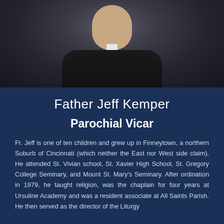[Figure (photo): Photograph of Father Jeff Kemper, a priest wearing black clerical attire with a white collar, photographed from approximately chest level up against a dark background.]
Father Jeff Kemper
Parochial Vicar
Fr. Jeff is one of ten children and grew up in Finneytown, a northern Suburb of Cincinnati (which neither the East nor West side claim). He attended St. Vivian school, St. Xavier High School, St. Gregory College Seminary, and Mount St. Mary's Seminary. After ordination in 1979, he taught religion, was the chaplain for four years at Ursuline Academy and was a resident associate at All Saints Parish. He then served as the director of the Liturgy